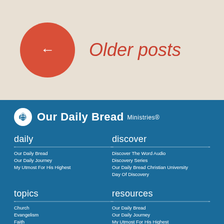← Older posts
[Figure (logo): Our Daily Bread Ministries logo with wheat icon]
daily
Our Daily Bread
Our Daily Journey
My Utmost For His Highest
discover
Discover The Word Audio
Discovery Series
Our Daily Bread Christian University
Day Of Discovery
topics
Church
Evangelism
Faith
Family & Parenting
Finances
God
Life Struggles
resources
Our Daily Bread
Our Daily Journey
My Utmost For His Highest
Discover The Word Audio
Discovery Series
Our Daily Bread Christian University
Day Of Discovery